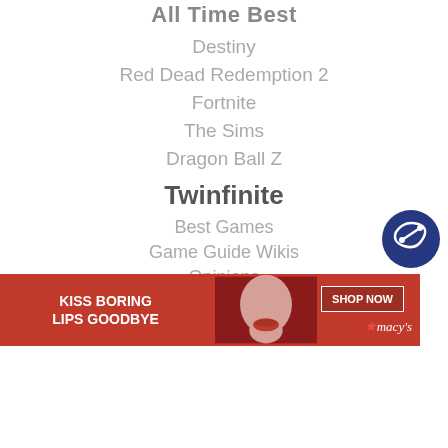All Time Best
Destiny
Red Dead Redemption 2
Fortnite
The Sims
Dragon Ball Z
Twinfinite
Best Games
Game Guide Wikis
Opinions
[Figure (screenshot): Social media icons (Facebook, Twitter) and advertisement banner for Macy's lipstick with text 'KISS BORING LIPS GOODBYE' and 'SHOP NOW']